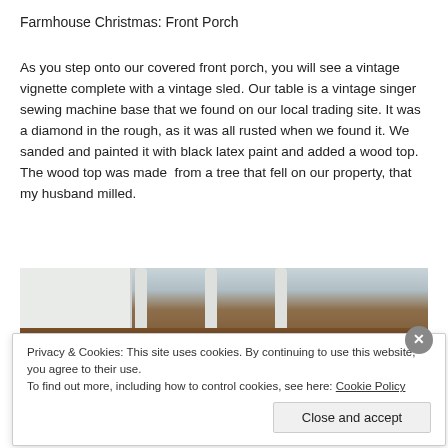Farmhouse Christmas: Front Porch
As you step onto our covered front porch, you will see a vintage vignette complete with a vintage sled. Our table is a vintage singer sewing machine base that we found on our local trading site. It was a diamond in the rough, as it was all rusted when we found it. We sanded and painted it with black latex paint and added a wood top. The wood top was made from a tree that fell on our property, that my husband milled.
[Figure (photo): Close-up photo of white furniture legs resting on dark hardwood floor, with a white wall or appliance visible on the left side.]
Privacy & Cookies: This site uses cookies. By continuing to use this website, you agree to their use.
To find out more, including how to control cookies, see here: Cookie Policy
Close and accept